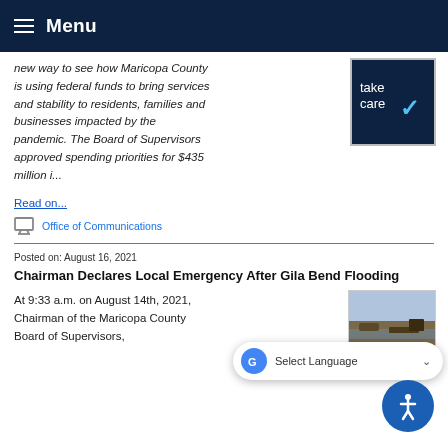Menu
new way to see how Maricopa County is using federal funds to bring services and stability to residents, families and businesses impacted by the pandemic. The Board of Supervisors approved spending priorities for $435 million i...
Read on...
Office of Communications
Posted on: August 16, 2021
Chairman Declares Local Emergency After Gila Bend Flooding
At 9:33 a.m. on August 14th, 2021, Chairman of the Maricopa County Board of Supervisors,